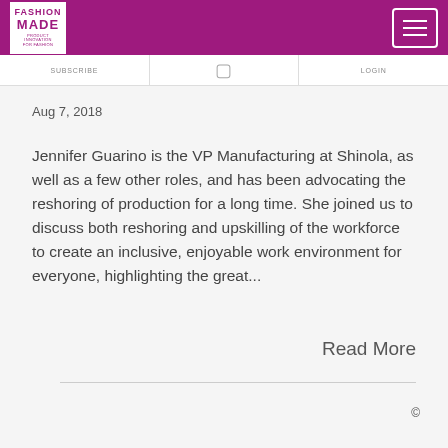FASHION MADE
Aug 7, 2018
Jennifer Guarino is the VP Manufacturing at Shinola, as well as a few other roles, and has been advocating the reshoring of production for a long time. She joined us to discuss both reshoring and upskilling of the workforce to create an inclusive, enjoyable work environment for everyone, highlighting the great...
Read More